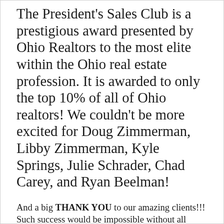The President's Sales Club is a prestigious award presented by Ohio Realtors to the most elite within the Ohio real estate profession. It is awarded to only the top 10% of all of Ohio realtors! We couldn't be more excited for Doug Zimmerman, Libby Zimmerman, Kyle Springs, Julie Schrader, Chad Carey, and Ryan Beelman!
And a big THANK YOU to our amazing clients!!! Such success would be impossible without all